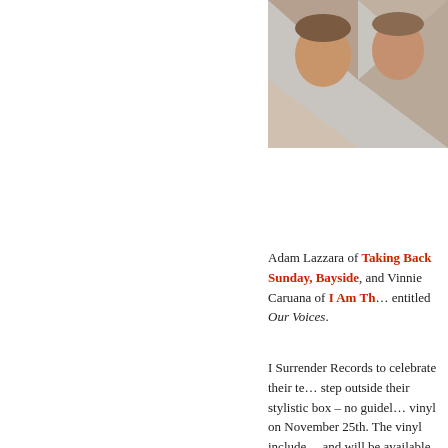[Figure (photo): Top portion of album art or band photo partially visible, showing faces against geometric background, cropped at top of page]
Adam Lazzara of Taking Back Sunday, Bayside, and Vinnie Caruana of I Am Th... entitled Our Voices.
I Surrender Records to celebrate their te... step outside their stylistic box – no guidel... vinyl on November 25th. The vinyl include... and will be available on their webstore. S...
[Figure (screenshot): Black banner with Bayside logo (flame above box icon) in white circle and text Anthony Raneri, followed by a photo of band members against geometric teal/brown background]